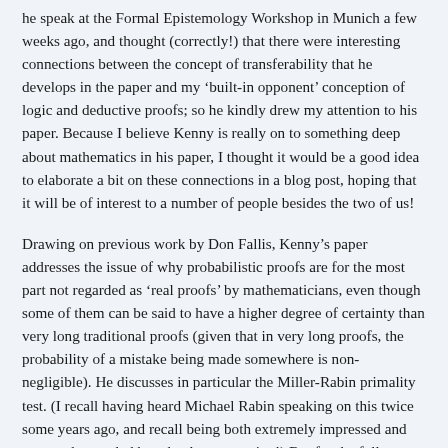he speak at the Formal Epistemology Workshop in Munich a few weeks ago, and thought (correctly!) that there were interesting connections between the concept of transferability that he develops in the paper and my 'built-in opponent' conception of logic and deductive proofs; so he kindly drew my attention to his paper. Because I believe Kenny is really on to something deep about mathematics in his paper, I thought it would be a good idea to elaborate a bit on these connections in a blog post, hoping that it will be of interest to a number of people besides the two of us!
Drawing on previous work by Don Fallis, Kenny's paper addresses the issue of why probabilistic proofs are for the most part not regarded as 'real proofs' by mathematicians, even though some of them can be said to have a higher degree of certainty than very long traditional proofs (given that in very long proofs, the probability of a mistake being made somewhere is non-negligible). He discusses in particular the Miller-Rabin primality test. (I recall having heard Michael Rabin speaking on this twice some years ago, and recall being both extremely impressed and extremely puzzled by what he was saying!) But for the full story, you'll just have to read Kenny's paper, as here I will focus on his concept of transferability so as to compare it to the built-in opponent conception of proofs that I present elsewhere and in